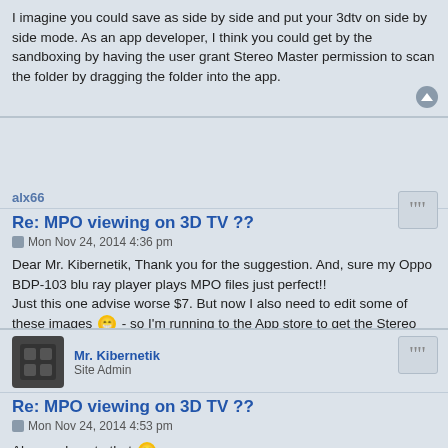I imagine you could save as side by side and put your 3dtv on side by side mode. As an app developer, I think you could get by the sandboxing by having the user grant Stereo Master permission to scan the folder by dragging the folder into the app.
alx66
Re: MPO viewing on 3D TV ??
Mon Nov 24, 2014 4:36 pm
Dear Mr. Kibernetik, Thank you for the suggestion. And, sure my Oppo BDP-103 blu ray player plays MPO files just perfect!! Just this one advise worse $7. But now I also need to edit some of these images 😁 - so I'm running to the App store to get the Stereo Master!! Thank you very much, very impressed with the app and the level of support. Looking for more...
Mr. Kibernetik
Site Admin
Re: MPO viewing on 3D TV ??
Mon Nov 24, 2014 4:53 pm